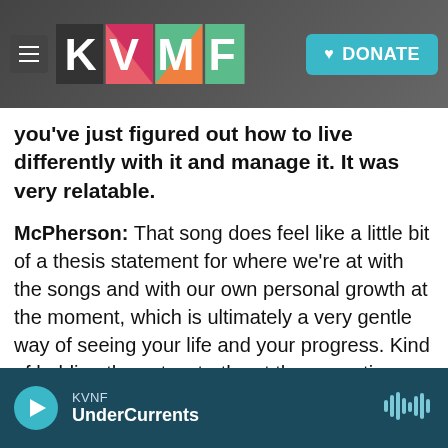[Figure (screenshot): KVNF radio website header with hamburger menu, colorful KVMF logo, and teal DONATE button over a dark rocky background image]
you've just figured out how to live differently with it and manage it. It was very relatable.
McPherson: That song does feel like a little bit of a thesis statement for where we're at with the songs and with our own personal growth at the moment, which is ultimately a very gentle way of seeing your life and your progress. Kind of holding those two truths at the same time but not wearing anything too heavily. Not drowning in your pain, having a different relationship with your own pain. That is still obviously here.
KVNF UnderCurrents